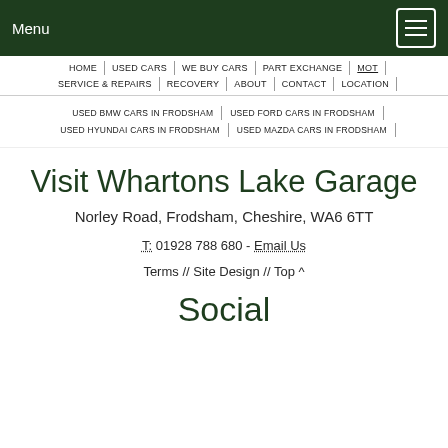Menu
HOME | USED CARS | WE BUY CARS | PART EXCHANGE | MOT | SERVICE & REPAIRS | RECOVERY | ABOUT | CONTACT | LOCATION
USED BMW CARS IN FRODSHAM | USED FORD CARS IN FRODSHAM | USED HYUNDAI CARS IN FRODSHAM | USED MAZDA CARS IN FRODSHAM
Visit Whartons Lake Garage
Norley Road, Frodsham, Cheshire, WA6 6TT
T: 01928 788 680 - Email Us
Terms // Site Design // Top ^
Social